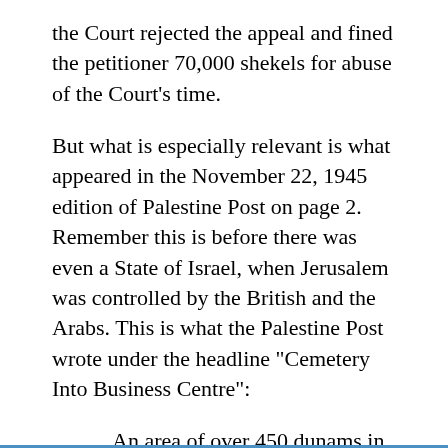the Court rejected the appeal and fined the petitioner 70,000 shekels for abuse of the Court's time.
But what is especially relevant is what appeared in the November 22, 1945 edition of Palestine Post on page 2. Remember this is before there was even a State of Israel, when Jerusalem was controlled by the British and the Arabs. This is what the Palestine Post wrote under the headline "Cemetery Into Business Centre":
An area of over 450 dunams in the heart of Jerusalem, now forming the Mamillah Cemetery, is to be converted into a business centre. The townplan is being completed